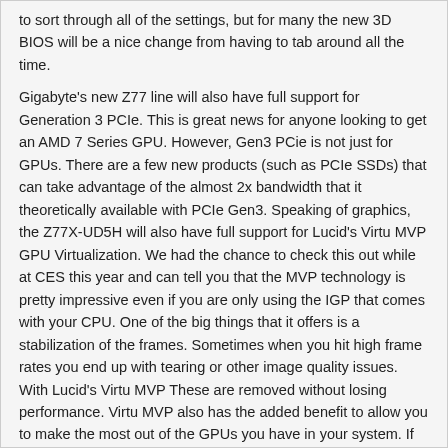to sort through all of the settings, but for many the new 3D BIOS will be a nice change from having to tab around all the time.
Gigabyte's new Z77 line will also have full support for Generation 3 PCIe. This is great news for anyone looking to get an AMD 7 Series GPU. However, Gen3 PCie is not just for GPUs. There are a few new products (such as PCIe SSDs) that can take advantage of the almost 2x bandwidth that it theoretically available with PCIe Gen3. Speaking of graphics, the Z77X-UD5H will also have full support for Lucid's Virtu MVP GPU Virtualization. We had the chance to check this out while at CES this year and can tell you that the MVP technology is pretty impressive even if you are only using the IGP that comes with your CPU. One of the big things that it offers is a stabilization of the frames. Sometimes when you hit high frame rates you end up with tearing or other image quality issues. With Lucid's Virtu MVP These are removed without losing performance. Virtu MVP also has the added benefit to allow you to make the most out of the GPUs you have in your system. If something can be performed better by the IGP then Virtu MVP will allow that graphics processor to perform that task leaving the primary GPU at idle (the first version of this was shown off in 2011 at CES). Gigabyte adding this in can give you an edge that goes beyond just gaming and it can do it without increasing power draw or heat.